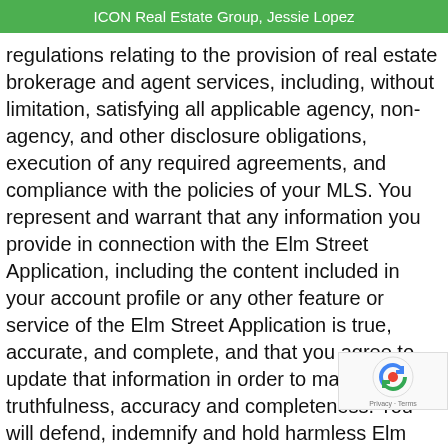ICON Real Estate Group, Jessie Lopez
regulations relating to the provision of real estate brokerage and agent services, including, without limitation, satisfying all applicable agency, non-agency, and other disclosure obligations, execution of any required agreements, and compliance with the policies of your MLS. You represent and warrant that any information you provide in connection with the Elm Street Application, including the content included in your account profile or any other feature or service of the Elm Street Application is true, accurate, and complete, and that you agree to update that information in order to maintain its truthfulness, accuracy and completeness. You will defend, indemnify and hold harmless Elm Street, and its members, managers,